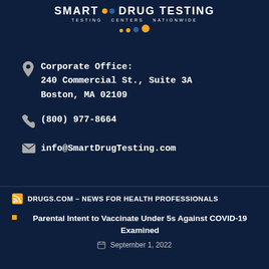[Figure (logo): Smart Drug Testing logo with orange and blue dots and text 'TESTING CENTERS NATIONWIDE']
Corporate Office:
240 Commercial St., Suite 3A
Boston, MA 02109
(800) 977-8664
info@SmartDrugTesting.com
DRUGS.COM – NEWS FOR HEALTH PROFESSIONALS
Parental Intent to Vaccinate Under 5s Against COVID-19 Examined
September 1, 2022